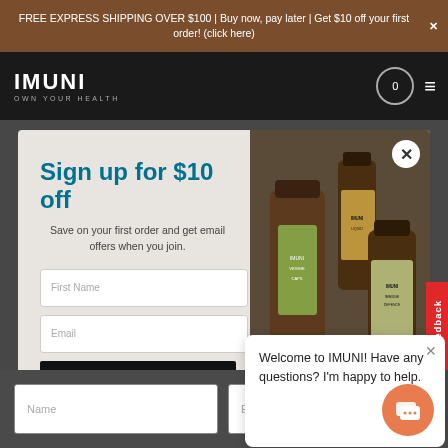FREE EXPRESS SHIPPING OVER $100 | Buy now, pay later | Get $10 off your first order! (click here)
[Figure (screenshot): IMUNI brand navigation bar with logo, cart icon showing 0, and hamburger menu on dark background]
Sign up for $10 off
Save on your first order and get email offers when you join.
[Figure (photo): IMUNI supplement bottles and products arranged on dark surface]
First Name
Email
Continue
Feedback
Welcome to IMUNI! Have any questions? I'm happy to help.
Name
Email